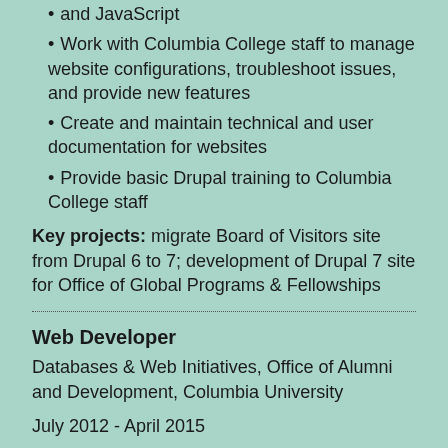and JavaScript
Work with Columbia College staff to manage website configurations, troubleshoot issues, and provide new features
Create and maintain technical and user documentation for websites
Provide basic Drupal training to Columbia College staff
Key projects: migrate Board of Visitors site from Drupal 6 to 7; development of Drupal 7 site for Office of Global Programs & Fellowships
Web Developer
Databases & Web Initiatives, Office of Alumni and Development, Columbia University
July 2012 - April 2015
The Databases & Web Initiatives team at the Office of